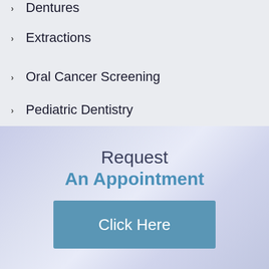Dentures
Extractions
Oral Cancer Screening
Pediatric Dentistry
Request An Appointment
Click Here